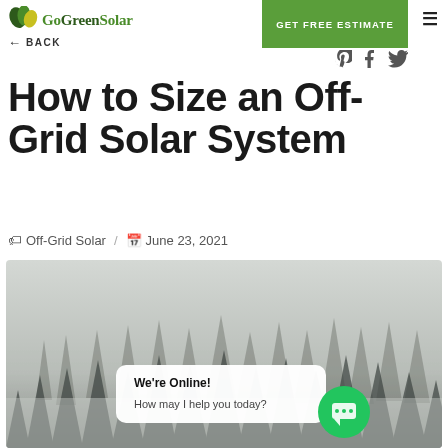GoGreenSolar | BACK | GET FREE ESTIMATE
How to Size an Off-Grid Solar System
Off-Grid Solar / June 23, 2021
[Figure (photo): Foggy forest landscape with conifer trees in mist, with a chat widget overlay saying 'We're Online! How may I help you today?']